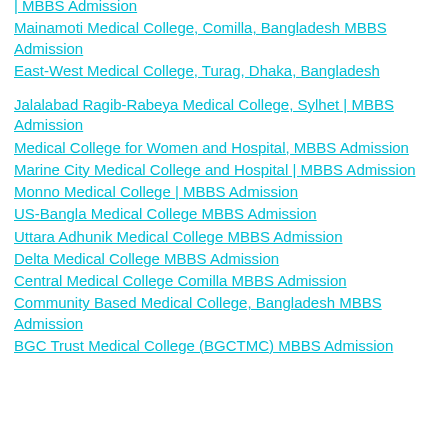| MBBS Admission
Mainamoti Medical College, Comilla, Bangladesh MBBS Admission
East-West Medical College, Turag, Dhaka, Bangladesh
Jalalabad Ragib-Rabeya Medical College, Sylhet | MBBS Admission
Medical College for Women and Hospital, MBBS Admission
Marine City Medical College and Hospital | MBBS Admission
Monno Medical College | MBBS Admission
US-Bangla Medical College MBBS Admission
Uttara Adhunik Medical College MBBS Admission
Delta Medical College MBBS Admission
Central Medical College Comilla MBBS Admission
Community Based Medical College, Bangladesh MBBS Admission
BGC Trust Medical College (BGCTMC) MBBS Admission